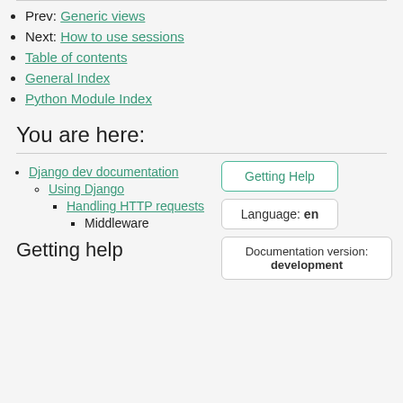Prev: Generic views
Next: How to use sessions
Table of contents
General Index
Python Module Index
You are here:
Django dev documentation
Using Django
Handling HTTP requests
Middleware
Getting Help
Language: en
Documentation version: development
Getting help